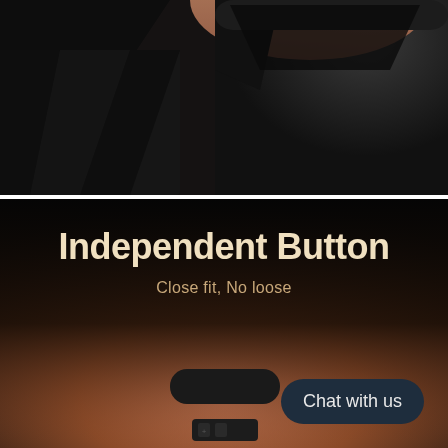[Figure (photo): Close-up macro photo of a black device corner/edge with a gold/skin-toned surface visible at the top, dark matte black surfaces with V-shaped indent]
[Figure (photo): Product photo showing a black handheld device (hair straightener/beauty tool) resting on skin, with the text 'Independent Button - Close fit, No loose' overlaid. A dark navy chat button overlay reads 'Chat with us'.]
Independent Button
Close fit, No loose
Chat with us